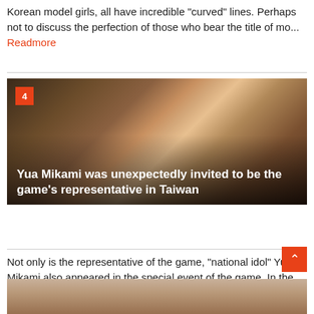Korean model girls, all have incredible "curved" lines. Perhaps not to discuss the perfection of those who bear the title of mo... Readmore
[Figure (photo): Photo of Yua Mikami in traditional Japanese kimono with decorative background featuring birds and tree branches. Orange badge with number 4 in top left corner.]
Yua Mikami was unexpectedly invited to be the game's representative in Taiwan
Not only is the representative of the game, "national idol" Yua Mikami also appeared in the special event of the game. In the ad... Readmore
[Figure (photo): Partial photo showing person with dark hair against light background, cropped at bottom of page.]